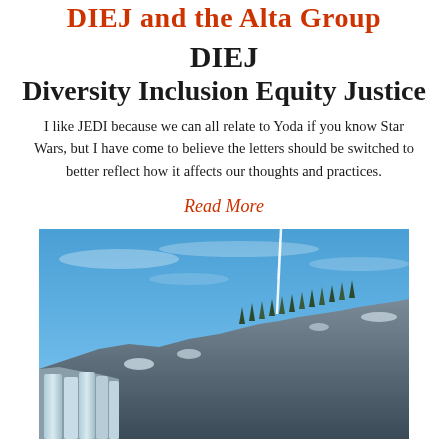DIEJ and the Alta Group
DIEJ
Diversity Inclusion Equity Justice
I like JEDI because we can all relate to Yoda if you know Star Wars, but I have come to believe the letters should be switched to better reflect how it affects our thoughts and practices.
Read More
[Figure (photo): A rocky mountain cliff face with snow and ice formations against a blue sky, with a thin white vertical streak (possibly a waterfall or ice formation) visible.]